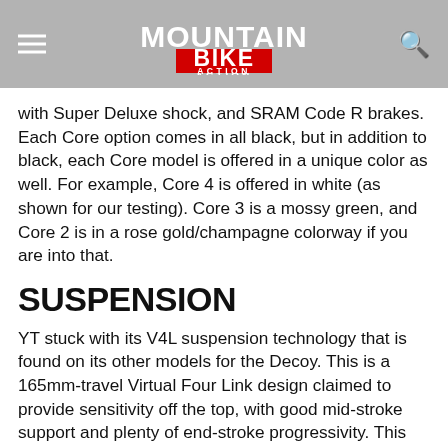Mountain Bike Action
with Super Deluxe shock, and SRAM Code R brakes. Each Core option comes in all black, but in addition to black, each Core model is offered in a unique color as well. For example, Core 4 is offered in white (as shown for our testing). Core 3 is a mossy green, and Core 2 is in a rose gold/champagne colorway if you are into that.
SUSPENSION
YT stuck with its V4L suspension technology that is found on its other models for the Decoy. This is a 165mm-travel Virtual Four Link design claimed to provide sensitivity off the top, with good mid-stroke support and plenty of end-stroke progressivity. This design is also intended to provide a high degree of anti-squat in order to keep the rear suspension neutral while improving pedaling efficiency. Handling all the terrain we could throw at it on our build was a 170mm-travel Fox 38 fork combined with a Float X2 shock. We initially ran this shock at the recommended setting, but ended up going to a softer setting than